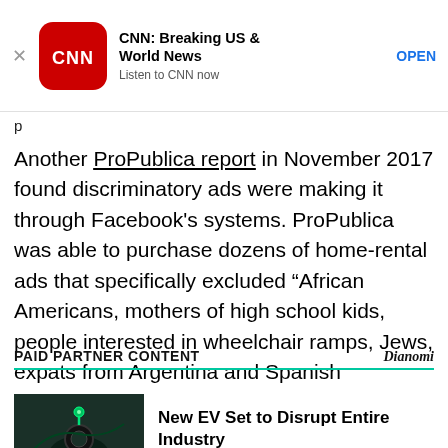[Figure (screenshot): CNN app advertisement banner with red rounded square logo, app name 'CNN: Breaking US & World News', subtitle 'Listen to CNN now', and an OPEN button link]
p
Another ProPublica report in November 2017 found discriminatory ads were making it through Facebook's systems. ProPublica was able to purchase dozens of home-rental ads that specifically excluded “African Americans, mothers of high school kids, people interested in wheelchair ramps, Jews, expats from Argentina and Spanish speakers.”
PAID PARTNER CONTENT
[Figure (screenshot): Thumbnail image of an electric vehicle being charged at night, green lighting]
New EV Set to Disrupt Entire Industry
sponsored by Empire Financial Research